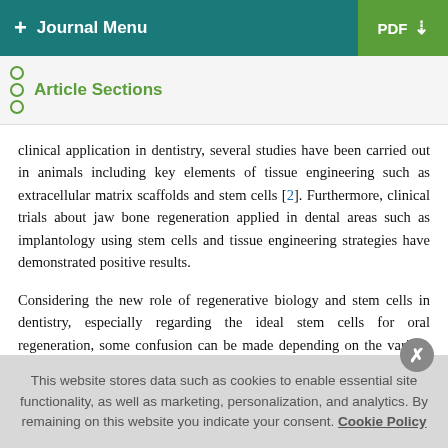+ Journal Menu   PDF ↓
Article Sections
clinical application in dentistry, several studies have been carried out in animals including key elements of tissue engineering such as extracellular matrix scaffolds and stem cells [2]. Furthermore, clinical trials about jaw bone regeneration applied in dental areas such as implantology using stem cells and tissue engineering strategies have demonstrated positive results.
Considering the new role of regenerative biology and stem cells in dentistry, especially regarding the ideal stem cells for oral regeneration, some confusion can be made depending on the various oral and maxillofacial locations where stem cells can be obtained [3]
This website stores data such as cookies to enable essential site functionality, as well as marketing, personalization, and analytics. By remaining on this website you indicate your consent. Cookie Policy